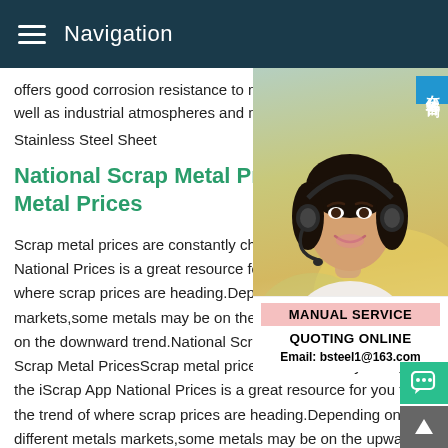Navigation
offers good corrosion resistance to many c well as industrial atmospheres and marine
Stainless Steel Sheet
National Scrap Metal Prices - Metal Prices
Scrap metal prices are constantly changin National Prices is a great resource for you where scrap prices are heading.Depending markets,some metals may be on the upwa on the downward trend.National Scrap Metal Prices - Today's Scrap Metal PricesScrap metal prices are constantly changing so the iScrap App National Prices is a great resource for you to see the trend of where scrap prices are heading.Depending on the different metals markets,some metals may be on the upward t while others are on the downward trend.Mild Steel Plate from
[Figure (photo): Customer service representative wearing a headset, smiling, with a Chinese online chat button overlay (在线咨询) in blue, and a service box showing MANUAL SERVICE, QUOTING ONLINE, Email: bsteel1@163.com]